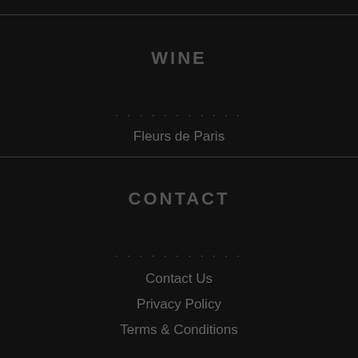WINE
· · · · · · · · · · ·
Fleurs de Paris
CONTACT
· · · · · · · · · · ·
Contact Us
Privacy Policy
Terms & Conditions